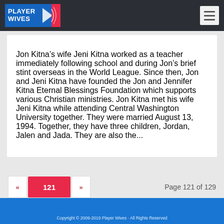[Figure (logo): Player Wives logo with basketball icon on dark header bar]
Jon Kitna’s wife Jeni Kitna worked as a teacher immediately following school and during Jon’s brief stint overseas in the World League. Since then, Jon and Jeni Kitna have founded the Jon and Jennifer Kitna Eternal Blessings Foundation which supports various Christian ministries. Jon Kitna met his wife Jeni Kitna while attending Central Washington University together. They were married August 13, 1994. Together, they have three children, Jordan, Jalen and Jada. They are also the...
Page 121 of 129
Copyright © 2009-2019 Player Wives · All Rights Reserved